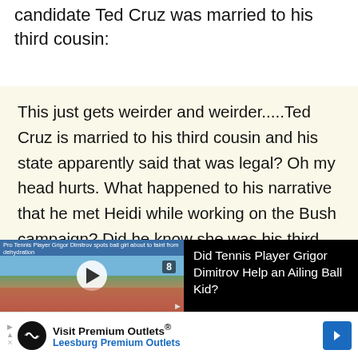candidate Ted Cruz was married to his third cousin:
This just gets weirder and weirder.....Ted Cruz is married to his third cousin and his state apparently said that was legal? Oh my head hurts. What happened to his narrative that he met Heidi while working on the Bush campaign? Did he know she was his third cousin then?
[Figure (screenshot): Video player thumbnail showing Pro Tennis Player Grigor Dimitrov spots ball girl about to faint from dehydration, with play button overlay and crowd in background]
Did Tennis Player Grigor Dimitrov Help an Ailing Ball Kid?
[Figure (screenshot): Advertisement banner: Visit Premium Outlets® - Leesburg Premium Outlets, with logo and navigation arrow]